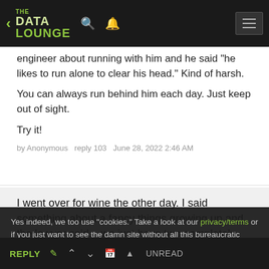THE DATA LOUNGE
engineer about running with him and he said "he likes to run alone to clear his head." Kind of harsh.

You can always run behind him each day. Just keep out of sight.

Try it!
by Anonymous  reply 103  June 28, 2022 2:46 AM
I went over for wine the other day. I said something about a fancy things growing up and the lawyer said...we just have two completely different lifestyles. I grew up with country clubs and debutantes, you did not. You would not really understand unless you grew
Yes indeed, we too use "cookies." Take a look at our privacy/terms or if you just want to see the damn site without all this bureaucratic nonsense, click ACCEPT. Otherwise, you'll just have to find some other site for your pointless bitchery needs.
REPLY  ↑  ↓  📅 ↑  UNREAD